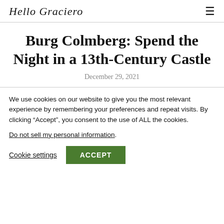Hello Graciero
Burg Colmberg: Spend the Night in a 13th-Century Castle
December 29, 2021
We use cookies on our website to give you the most relevant experience by remembering your preferences and repeat visits. By clicking “Accept”, you consent to the use of ALL the cookies. Do not sell my personal information.
Cookie settings | ACCEPT